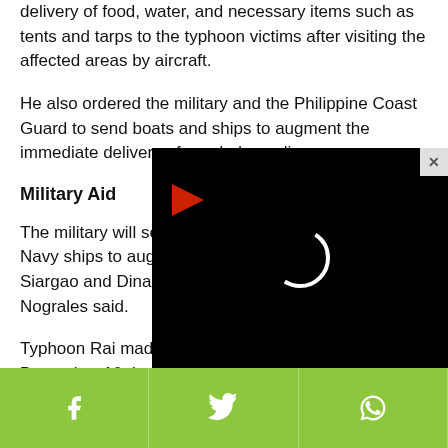delivery of food, water, and necessary items such as tents and tarps to the typhoon victims after visiting the affected areas by aircraft.
He also ordered the military and the Philippine Coast Guard to send boats and ships to augment the immediate delivery of needed supplies.
Military Aid
The military will send medical teams onboard two Navy ships to augment the health personnel in Siargao and Dinagat Islands, Cabinet Secretary Karlo Nograles said.
Typhoon Rai made landf... December 16. It was blo...
[Figure (screenshot): Video player overlay with black background, red play button arrow in top-left area, loading spinner circle in center, and close (X) button in top-right corner.]